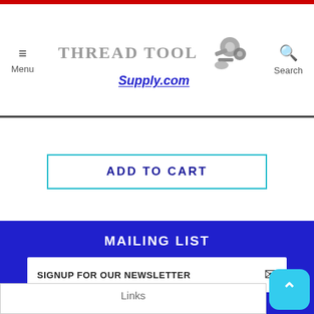Thread Tool Supply.com — Menu | Search
ADD TO CART
MAILING LIST
SIGNUP FOR OUR NEWSLETTER
Subscribe  Unsubscribe
Links